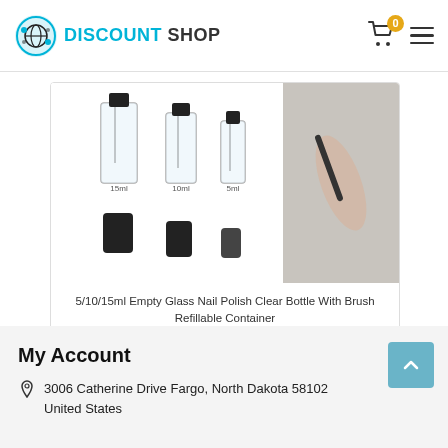DISCOUNT SHOP
[Figure (photo): Product photo showing 5ml, 10ml, and 15ml empty clear glass nail polish bottles with black brush caps, arranged in two rows, alongside a lifestyle photo of someone using the product]
5/10/15ml Empty Glass Nail Polish Clear Bottle With Brush Refillable Container
$ 9.9
My Account
3006 Catherine Drive Fargo, North Dakota 58102 United States